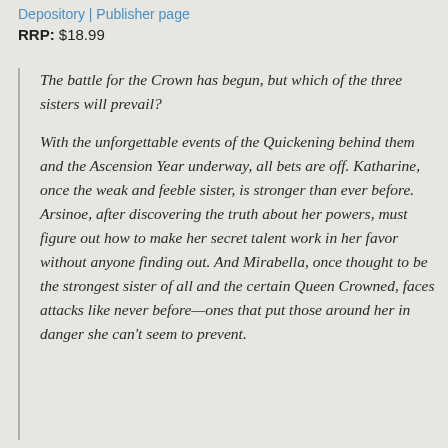Depository | Publisher page
RRP: $18.99
The battle for the Crown has begun, but which of the three sisters will prevail?

With the unforgettable events of the Quickening behind them and the Ascension Year underway, all bets are off. Katharine, once the weak and feeble sister, is stronger than ever before. Arsinoe, after discovering the truth about her powers, must figure out how to make her secret talent work in her favor without anyone finding out. And Mirabella, once thought to be the strongest sister of all and the certain Queen Crowned, faces attacks like never before—ones that put those around her in danger she can't seem to prevent.